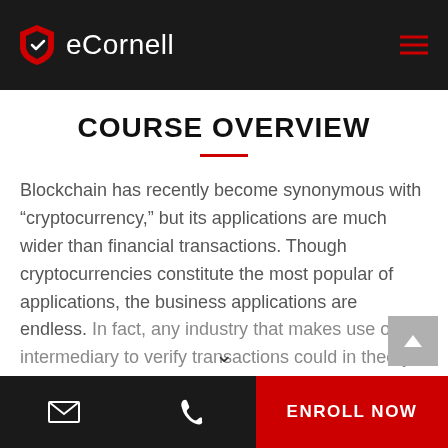eCornell
COURSE OVERVIEW
Blockchain has recently become synonymous with “cryptocurrency,” but its applications are much wider than financial transactions. Though cryptocurrencies constitute the most popular of applications, the business applications are endless. In fact, any industry that makes use of an intermediary to verify transactions could in theory
ENROLL NOW